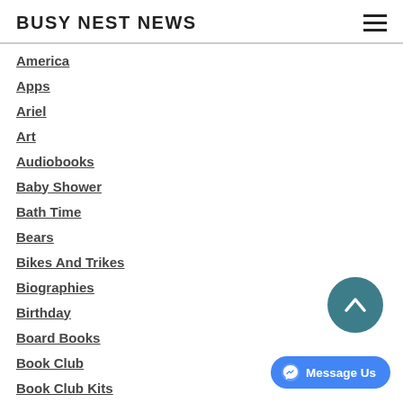BUSY NEST NEWS
America
Apps
Ariel
Art
Audiobooks
Baby Shower
Bath Time
Bears
Bikes And Trikes
Biographies
Birthday
Board Books
Book Club
Book Club Kits
Books
Breastfeeding